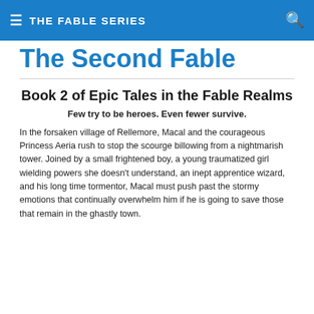THE FABLE SERIES
The Second Fable
Book 2 of Epic Tales in the Fable Realms
Few try to be heroes. Even fewer survive.
In the forsaken village of Rellemore, Macal and the courageous Princess Aeria rush to stop the scourge billowing from a nightmarish tower. Joined by a small frightened boy, a young traumatized girl wielding powers she doesn't understand, an inept apprentice wizard, and his long time tormentor, Macal must push past the stormy emotions that continually overwhelm him if he is going to save those that remain in the ghastly town.